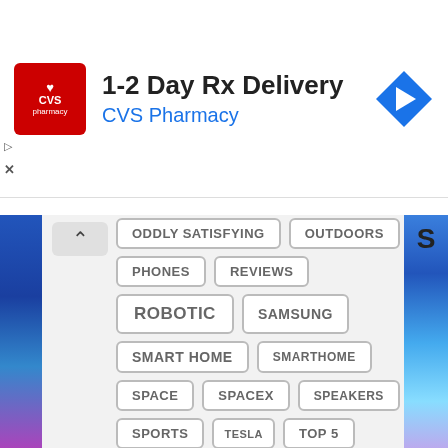[Figure (screenshot): CVS Pharmacy advertisement banner with logo, '1-2 Day Rx Delivery' headline, 'CVS Pharmacy' subtext, and a blue navigation arrow icon]
[Figure (screenshot): Tag/category list panel showing clickable tag buttons: ODDLY SATISFYING, OUTDOORS, PHONES, REVIEWS, ROBOTIC, SAMSUNG, SMART HOME, SMARTHOME, SPACE, SPACEX, SPEAKERS, SPORTS, TESLA, TOP 5, TRANSPORTATION, TV, UNBOXING, VR]